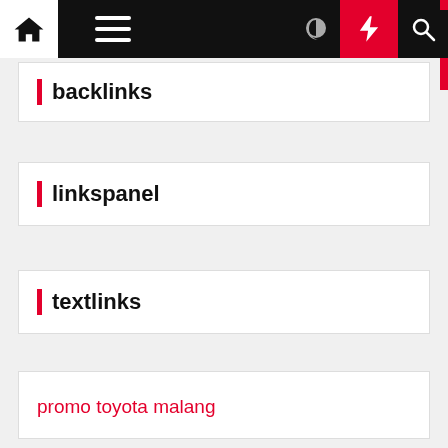Navigation bar with home, menu, moon, bolt, and search icons
backlinks
linkspanel
textlinks
promo toyota malang